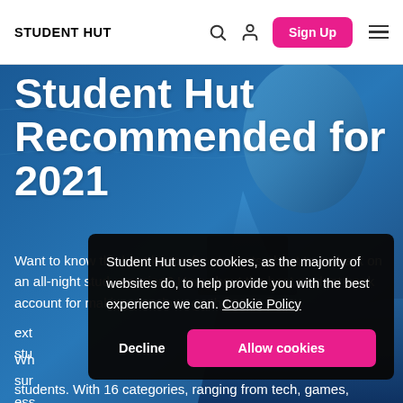STUDENT HUT
Student Hut Recommended for 2021
Want to know the best laptop for students about to embark on an all-night study session? How about the best student bank account for making your loan go that ext... stu...
Wh... sur... ess...
students. With 16 categories, ranging from tech, games,
Student Hut uses cookies, as the majority of websites do, to help provide you with the best experience we can. Cookie Policy
Decline
Allow cookies